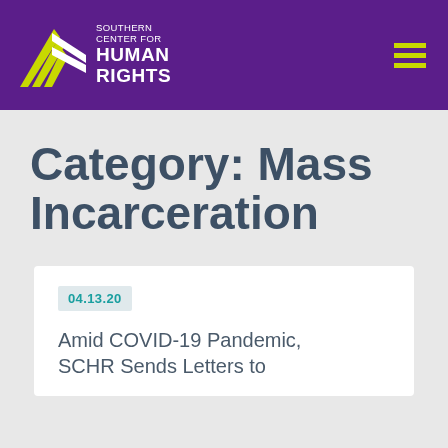Southern Center for Human Rights
Category: Mass Incarceration
04.13.20
Amid COVID-19 Pandemic, SCHR Sends Letters to